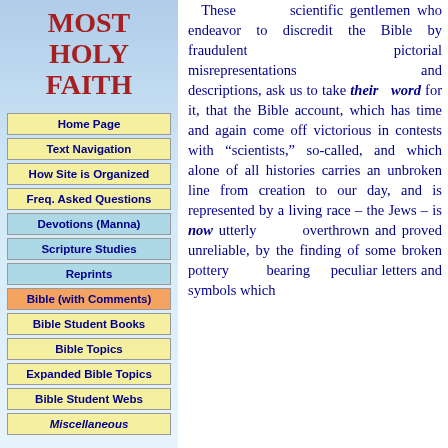MOST HOLY FAITH
Home Page
Text Navigation
How Site is Organized
Freq. Asked Questions
Devotions (Manna)
Scripture Studies
Reprints
Bible (with Comments)
Bible Student Books
Bible Topics
Expanded Bible Topics
Bible Student Webs
Miscellaneous
These scientific gentlemen who endeavor to discredit the Bible by fraudulent pictorial misrepresentations and descriptions, ask us to take their word for it, that the Bible account, which has time and again come off victorious in contests with "scientists," so-called, and which alone of all histories carries an unbroken line from creation to our day, and is represented by a living race – the Jews – is now utterly overthrown and proved unreliable, by the finding of some broken pottery bearing peculiar letters and symbols which